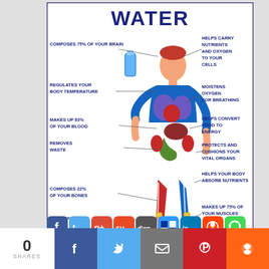[Figure (infographic): Infographic titled WATER showing a human figure with labeled lines pointing to body parts indicating water's role: Composes 75% of your brain, Helps carry nutrients and oxygen to your cells, Regulates your body temperature, Moistens oxygen for breathing, Makes up 83% of your blood, Helps convert food to energy, Removes waste, Protects and cushions your vital organs, Composes 22% of your bones, Helps your body absorb nutrients, Cushions your joints, Makes up 75% of your muscles]
[Figure (infographic): Row of social sharing icons: Facebook, Twitter, Google+, StumbleUpon, Digg, Delicious, LinkedIn, Reddit, WhatsApp]
[Figure (infographic): Bottom sharing strip showing 0 SHARES counter, Facebook share button (blue), Twitter share button (light blue), Email share button (gray), Pinterest share button (red), Reddit share button (orange)]